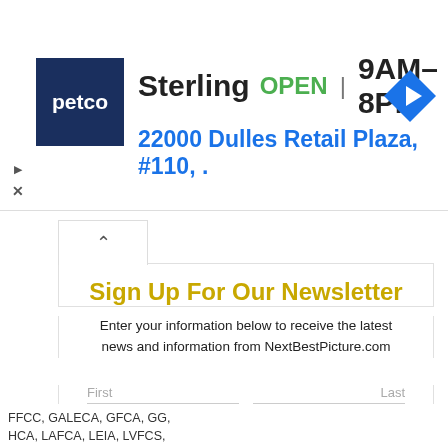[Figure (screenshot): Petco ad banner showing Sterling store: OPEN 9AM-8PM, 22000 Dulles Retail Plaza #110, with navigation icon]
Sign Up For Our Newsletter
Enter your information below to receive the latest news and information from NextBestPicture.com
First | Last | Email Address | Subscribe
FFCC, GALECA, GFCA, GG, HCA, LAFCA, LEIA, LVFCS,